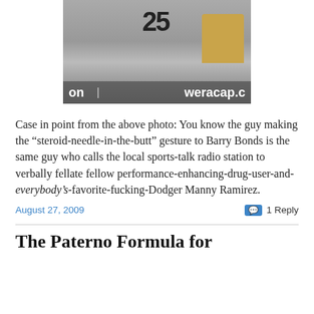[Figure (photo): Photo of a baseball player wearing jersey number 25, with a young girl spectator visible in the background seats. A banner at the bottom of the photo reads 'on' on the left and 'weracap.c' on the right.]
Case in point from the above photo: You know the guy making the “steroid-needle-in-the-butt” gesture to Barry Bonds is the same guy who calls the local sports-talk radio station to verbally fellate fellow performance-enhancing-drug-user-and-everybody’s-favorite-fucking-Dodger Manny Ramirez.
August 27, 2009                                             1 Reply
The Paterno Formula for